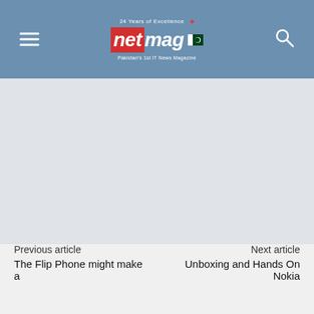netmag — Pakistan's 1st IT News Magazine
[Figure (screenshot): Large blank/empty content area with light gray background, serving as the main article image or ad space]
Previous article | Next article | The Flip Phone might make a | Unboxing and Hands On Nokia